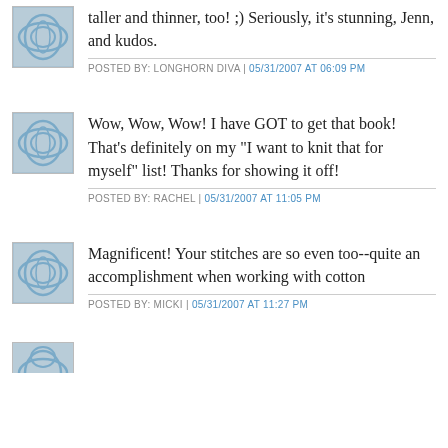taller and thinner, too! ;) Seriously, it's stunning, Jenn, and kudos.
POSTED BY: LONGHORN DIVA | 05/31/2007 AT 06:09 PM
Wow, Wow, Wow! I have GOT to get that book! That's definitely on my "I want to knit that for myself" list! Thanks for showing it off!
POSTED BY: RACHEL | 05/31/2007 AT 11:05 PM
Magnificent! Your stitches are so even too--quite an accomplishment when working with cotton
POSTED BY: MICKI | 05/31/2007 AT 11:27 PM